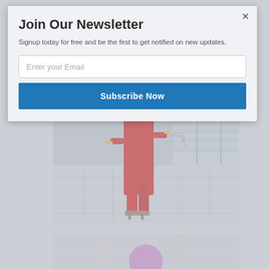Join Our Newsletter
Signup today for free and be the first to get notified on new updates.
Enter your Email
Subscribe Now
[Figure (photo): Woman in red jumpsuit walking away from camera on a tiled plaza, holding streamers/confetti in her right hand, wearing gold bangles and heeled sandals. Steps and railings visible in background.]
[Figure (photo): Partial view of second photo at bottom, showing a person with what appears to be balloons or accessories.]